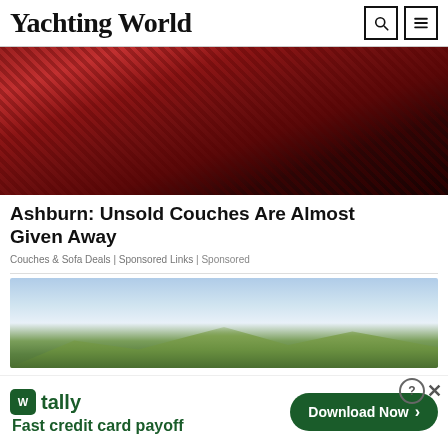Yachting World
[Figure (photo): Showroom with red/maroon tufted leather Chesterfield couches and dark leather sofas on tile floor]
Ashburn: Unsold Couches Are Almost Given Away
Couches & Sofa Deals | Sponsored Links | Sponsored
[Figure (photo): Landscape photo with blue sky, clouds, and green hills/mountains]
[Figure (infographic): Tally app advertisement banner - Fast credit card payoff with Download Now button]